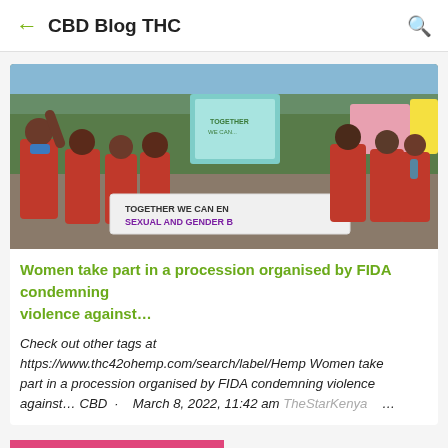← CBD Blog THC 🔍
[Figure (photo): Women in red shirts marching in a procession, holding signs including a banner reading 'TOGETHER WE CAN END SEXUAL AND GENDER B...' and colored placards, some wearing face masks]
Women take part in a procession organised by FIDA condemning violence against…
Check out other tags at https://www.thc42ohemp.com/search/label/Hemp Women take part in a procession organised by FIDA condemning violence against… CBD · March 8, 2022, 11:42 am TheStarKenya …